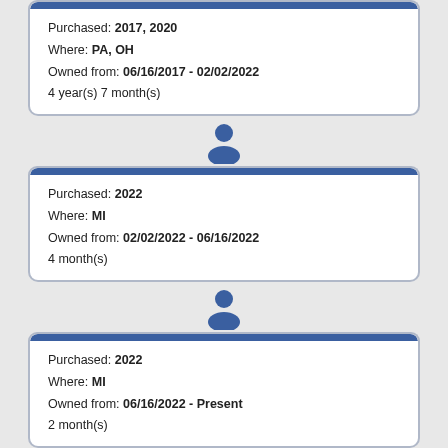Previous Owner(s)
Purchased: 2017, 2020
Where: PA, OH
Owned from: 06/16/2017 - 02/02/2022
4 year(s) 7 month(s)
[Figure (illustration): Blue person silhouette icon]
Last Owner
Purchased: 2022
Where: MI
Owned from: 02/02/2022 - 06/16/2022
4 month(s)
[Figure (illustration): Blue person silhouette icon]
Current Owner
Purchased: 2022
Where: MI
Owned from: 06/16/2022 - Present
2 month(s)